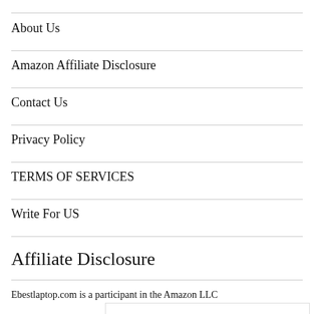About Us
Amazon Affiliate Disclosure
Contact Us
Privacy Policy
TERMS OF SERVICES
Write For US
Affiliate Disclosure
Ebestlaptop.com is a participant in the Amazon LLC
[Figure (other): Walgreens Photo advertisement banner: Summer Sun Care Savings with Walgreens Photo logo and navigation arrow icon]